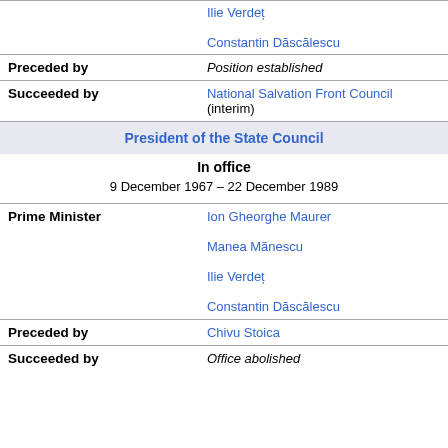|  | Ilie Verdеț

Constantin Dăscălescu |
| Preceded by | Position established |
| Succeeded by | National Salvation Front Council (interim) |
| President of the State Council |  |
| In office
9 December 1967 – 22 December 1989 |  |
| Prime Minister | Ion Gheorghe Maurer

Manea Mănescu

Ilie Verdеț

Constantin Dăscălescu |
| Preceded by | Chivu Stoica |
| Succeeded by | Office abolished |